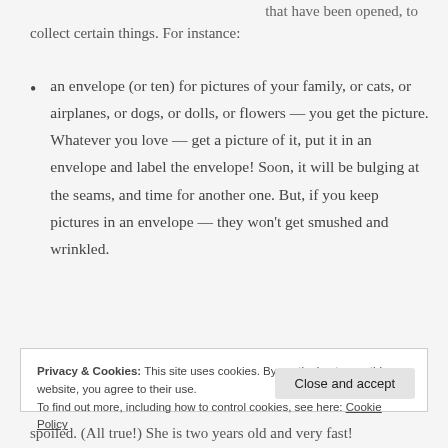that have been opened, to collect certain things. For instance:
an envelope (or ten) for pictures of your family, or cats, or airplanes, or dogs, or dolls, or flowers — you get the picture. Whatever you love — get a picture of it, put it in an envelope and label the envelope! Soon, it will be bulging at the seams, and time for another one. But, if you keep pictures in an envelope — they won't get smushed and wrinkled.
Privacy & Cookies: This site uses cookies. By continuing to use this website, you agree to their use.
To find out more, including how to control cookies, see here: Cookie Policy
spoiled. (All true!) She is two years old and very fast!